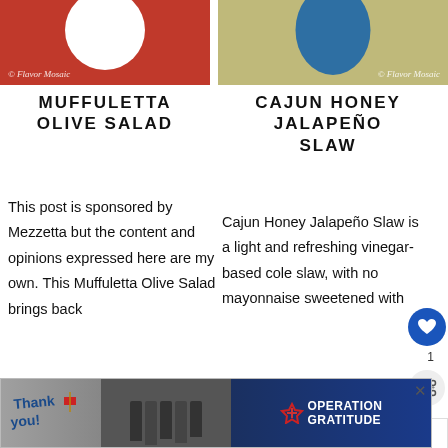[Figure (photo): Food photo left - white circular shape on red background with Flavor Mosaic watermark]
[Figure (photo): Food photo right - blue circular shape on yellow/tan background with Flavor Mosaic watermark]
MUFFULETTA OLIVE SALAD
CAJUN HONEY JALAPEÑO SLAW
This post is sponsored by Mezzetta but the content and opinions expressed here are my own. This Muffuletta Olive Salad brings back
Cajun Honey Jalapeño Slaw is a light and refreshing vinegar-based cole slaw, with no mayonnaise sweetened with
[Figure (screenshot): Advertisement banner - Thank You Operation Gratitude with firefighters photo]
[Figure (screenshot): What's Next overlay - Cajun Shrimp And Sausage]